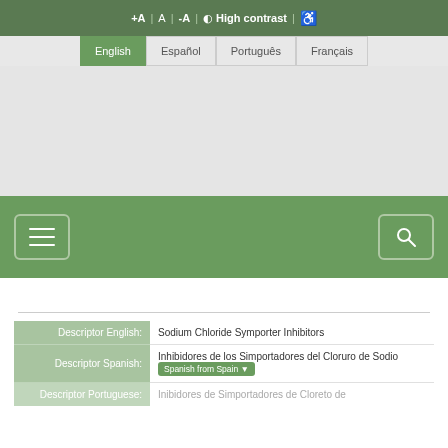+A | A | -A | High contrast | ♿
English | Español | Português | Français
[Figure (screenshot): Grey hero/banner placeholder area]
[Figure (screenshot): Green navigation bar with hamburger menu icon on left and search icon on right]
| Field | Value |
| --- | --- |
| Descriptor English: | Sodium Chloride Symporter Inhibitors |
| Descriptor Spanish: | Inhibidores de los Simportadores del Cloruro de Sodio  [Spanish from Spain ▾] |
| Descriptor Portuguese: | Inibidores de Simportadores de Cloreto de... |